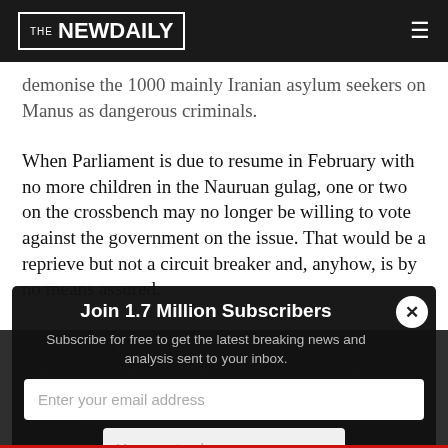THE NEWDAILY
demonise the 1000 mainly Iranian asylum seekers on Manus as dangerous criminals.
When Parliament is due to resume in February with no more children in the Nauruan gulag, one or two on the crossbench may no longer be willing to vote against the government on the issue. That would be a reprieve but not a circuit breaker and, anyhow, is by no means assured.
Analysis by psychologist Kevin Rudd man says no matter when the election is, on or before August 28, the government is finished. He says "no government has
Join 1.7 Million Subscribers
Subscribe for free to get the latest breaking news and analysis sent to your inbox.
Topics: